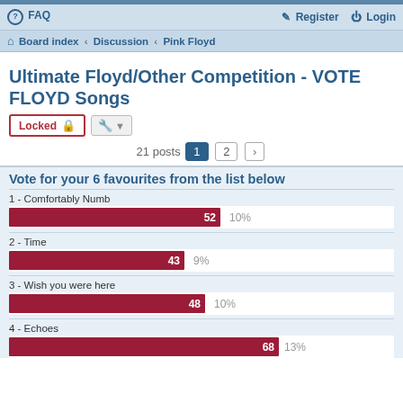FAQ   Register   Login
Board index › Discussion › Pink Floyd
Ultimate Floyd/Other Competition - VOTE FLOYD Songs
Locked
21 posts  1  2  ›
Vote for your 6 favourites from the list below
[Figure (bar-chart): Poll results]